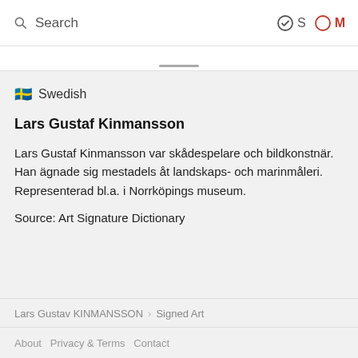Search  S  M
🇸🇪 Swedish
Lars Gustaf Kinmansson
Lars Gustaf Kinmansson var skådespelare och bildkonstnär. Han ägnade sig mestadels åt landskaps- och marinmåleri. Representerad bl.a. i Norrköpings museum.
Source: Art Signature Dictionary
Lars Gustav KINMANSSON  >  Signed Art
About   Privacy & Terms   Contact